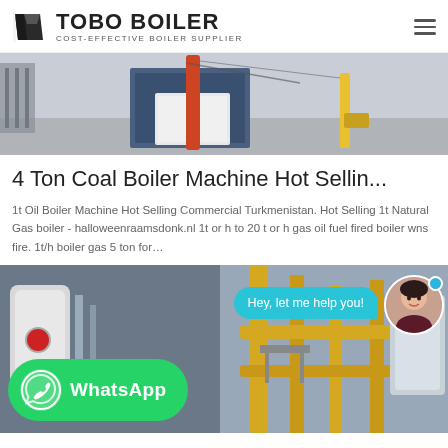[Figure (logo): Tobo Boiler logo with dark geometric icon and text 'TOBO BOILER - COST-EFFECTIVE BOILER SUPPLIER']
[Figure (photo): Industrial boiler equipment outdoors on a concrete surface with blue metal frame and orange/red pipe column]
4 Ton Coal Boiler Machine Hot Sellin...
1t Oil Boiler Machine Hot Selling Commercial Turkmenistan. Hot Selling 1t Natural Gas boiler - halloweenraamsdonk.nl 1t or h to 20 t or h gas oil fuel fired boiler wns fire. 1t/h boiler gas 5 ton for…
[Figure (photo): Industrial boiler facility interior showing yellow pipes and equipment, with a WhatsApp contact button overlay and chat assistant bubble saying 'Hey, let me help you!']